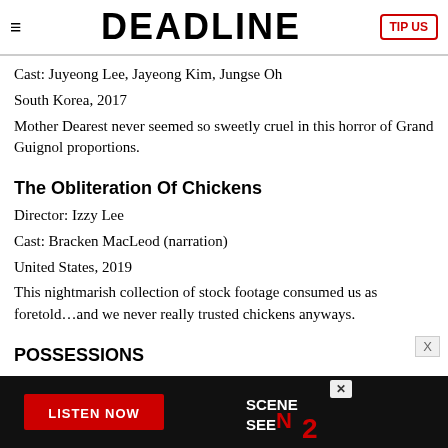≡  DEADLINE  TIP US
Cast: Juyeong Lee, Jayeong Kim, Jungse Oh
South Korea, 2017
Mother Dearest never seemed so sweetly cruel in this horror of Grand Guignol proportions.
The Obliteration Of Chickens
Director: Izzy Lee
Cast: Bracken MacLeod (narration)
United States, 2019
This nightmarish collection of stock footage consumed us as foretold…and we never really trusted chickens anyways.
POSSESSIONS
Director: Zeke Farrow
Cast: Zeke Farrow, Erica McIntire, Christine Woods
United States, 2019
[Figure (screenshot): Advertisement banner: black background with LISTEN NOW button in red and SCENE2SEEN logo]